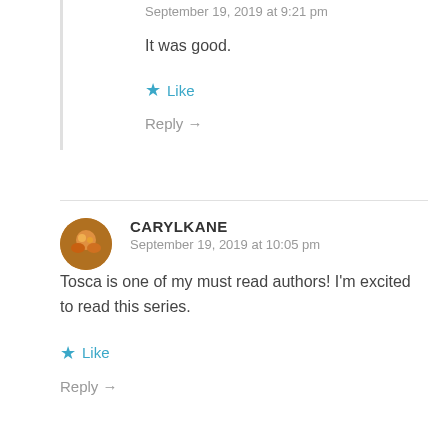September 19, 2019 at 9:21 pm
It was good.
★ Like
Reply →
CARYLKANE
September 19, 2019 at 10:05 pm
Tosca is one of my must read authors! I'm excited to read this series.
★ Like
Reply →